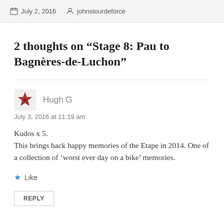July 2, 2016  johnstourdeforce
2 thoughts on “Stage 8: Pau to Bagnères-de-Luchon”
Hugh G
July 3, 2016 at 11:19 am
Kudos x 5.
This brings back happy memories of the Etape in 2014. One of a collection of ‘worst ever day on a bike’ memories.
Like
REPLY